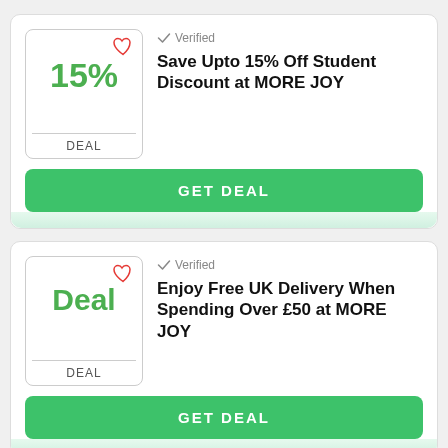15% — DEAL — Verified — Save Upto 15% Off Student Discount at MORE JOY — GET DEAL
Deal — DEAL — Verified — Enjoy Free UK Delivery When Spending Over £50 at MORE JOY — GET DEAL